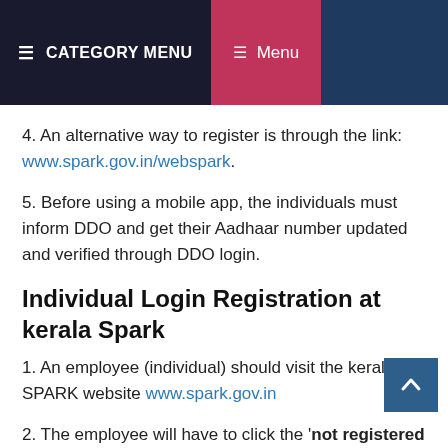≡ CATEGORY MENU   ≡ Menu
4. An alternative way to register is through the link: www.spark.gov.in/webspark.
5. Before using a mobile app, the individuals must inform DDO and get their Aadhaar number updated and verified through DDO login.
Individual Login Registration at kerala Spark
1. An employee (individual) should visit the kerala SPARK website www.spark.gov.in
2. The employee will have to click the 'not registered a user yet. Register Now' made available below the login